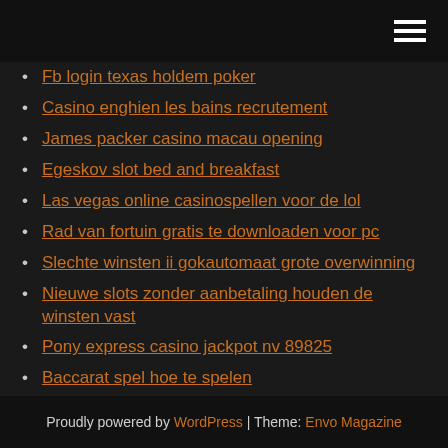[hamburger menu icon]
Fb login texas holdem poker
Casino enghien les bains recrutement
James packer casino macau opening
Egeskov slot bed and breakfast
Las vegas online casinospellen voor de lol
Rad van fortuin gratis te downloaden voor pc
Slechte winsten ii gokautomaat grote overwinning
Nieuwe slots zonder aanbetaling houden de winsten vast
Pony express casino jackpot nv 89825
Baccarat spel hoe te spelen
Proudly powered by WordPress | Theme: Envo Magazine